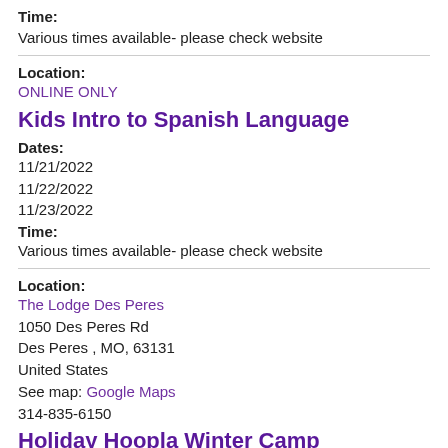Time:
Various times available- please check website
Location:
ONLINE ONLY
Kids Intro to Spanish Language
Dates:
11/21/2022
11/22/2022
11/23/2022
Time:
Various times available- please check website
Location:
The Lodge Des Peres
1050 Des Peres Rd
Des Peres , MO, 63131
United States
See map: Google Maps
314-835-6150
Holiday Hoopla Winter Camp
Dates: